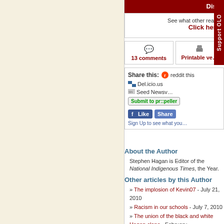[Figure (screenshot): Website interface showing discuss banner, see what others box, 13 comments and printable version buttons, share this section with reddit/delicious/seedvine/propeller/facebook options, and a vertical Support OLO tab]
About the Author
Stephen Hagan is Editor of the National Indigenous Times, the Year.
Other articles by this Author
» The implosion of Kevin07 - July 21, 2010
» Racism in our schools - July 7, 2010
» The union of the black and white Hagan clans - February